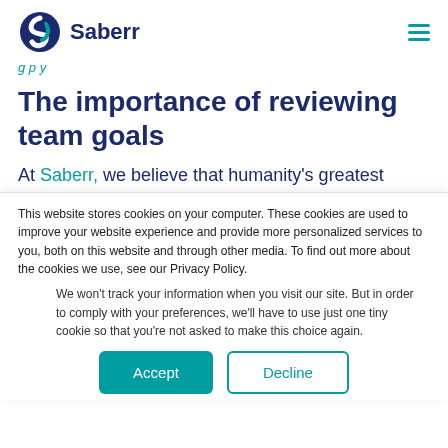Saberr
g p y
The importance of reviewing team goals
At Saberr, we believe that humanity's greatest
This website stores cookies on your computer. These cookies are used to improve your website experience and provide more personalized services to you, both on this website and through other media. To find out more about the cookies we use, see our Privacy Policy.
We won't track your information when you visit our site. But in order to comply with your preferences, we'll have to use just one tiny cookie so that you're not asked to make this choice again.
Accept
Decline